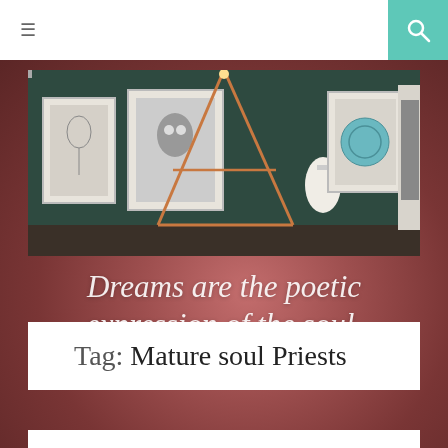≡  [search icon]
[Figure (photo): Art gallery interior with framed artworks on dark teal walls and a geometric copper/orange triangular lamp structure in the center]
Dreams are the poetic expression of the soul.
Tag: Mature soul Priests